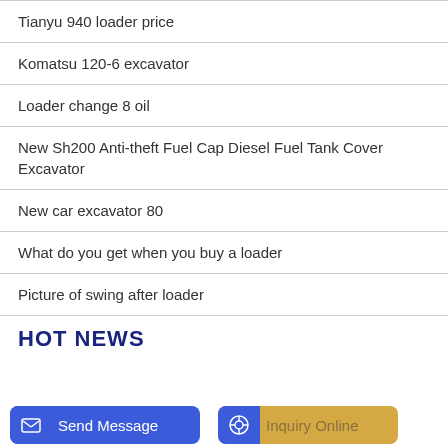Tianyu 940 loader price
Komatsu 120-6 excavator
Loader change 8 oil
New Sh200 Anti-theft Fuel Cap Diesel Fuel Tank Cover Excavator
New car excavator 80
What do you get when you buy a loader
Picture of swing after loader
HOT NEWS
Send Message
Inquiry Online